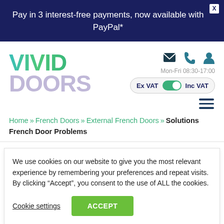Pay in 3 interest-free payments, now available with PayPal*
[Figure (logo): Vivid Doors logo — VIVID in teal/green gradient, DOORS in light purple/grey]
Mon-Fri 08:30-17:00
Ex VAT | Inc VAT toggle
Home » French Doors » External French Doors » Solutions French Door Problems
We use cookies on our website to give you the most relevant experience by remembering your preferences and repeat visits. By clicking "Accept", you consent to the use of ALL the cookies.
Cookie settings | ACCEPT